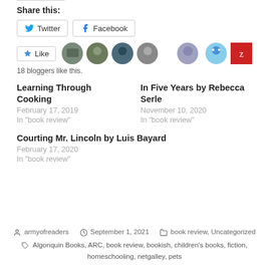Share this:
Twitter  Facebook
Like  18 bloggers like this.
Learning Through Cooking
February 17, 2019
In "book review"
In Five Years by Rebecca Serle
November 10, 2020
In "book review"
Courting Mr. Lincoln by Luis Bayard
February 17, 2020
In "book review"
armyofreaders  September 1, 2021  book review, Uncategorized
Algonquin Books, ARC, book review, bookish, children's books, fiction, homeschooling, netgalley, pets